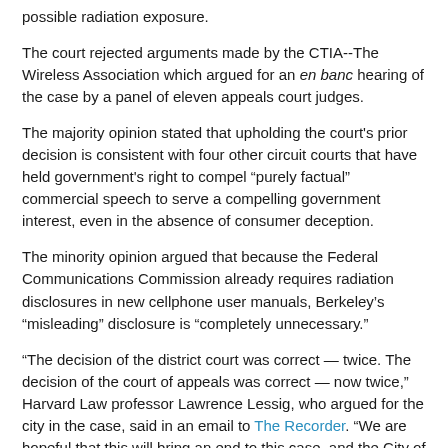possible radiation exposure.
The court rejected arguments made by the CTIA--The Wireless Association which argued for an en banc hearing of the case by a panel of eleven appeals court judges.
The majority opinion stated that upholding the court's prior decision is consistent with four other circuit courts that have held government's right to compel “purely factual” commercial speech to serve a compelling government interest, even in the absence of consumer deception.
The minority opinion argued that because the Federal Communications Commission already requires radiation disclosures in new cellphone user manuals, Berkeley’s “misleading” disclosure is “completely unnecessary.”
“The decision of the district court was correct — twice. The decision of the court of appeals was correct — now twice,” Harvard Law professor Lawrence Lessig, who argued for the city in the case, said in an email to The Recorder. “We are hopeful that this will bring an end to this case, and the City of Berkeley will again be free to govern its citizens as its citizens demand.”